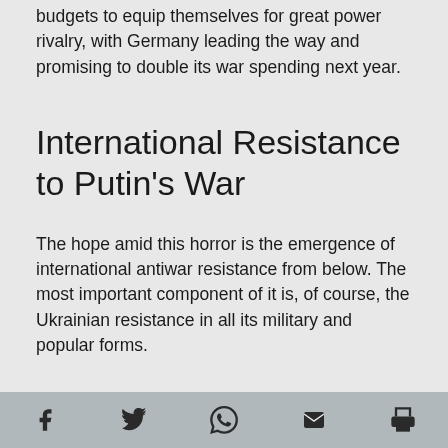budgets to equip themselves for great power rivalry, with Germany leading the way and promising to double its war spending next year.
International Resistance to Putin's War
The hope amid this horror is the emergence of international antiwar resistance from below. The most important component of it is, of course, the Ukrainian resistance in all its military and popular forms.
That resistance has inspired antiwar organizing
Facebook Twitter WhatsApp Email Print